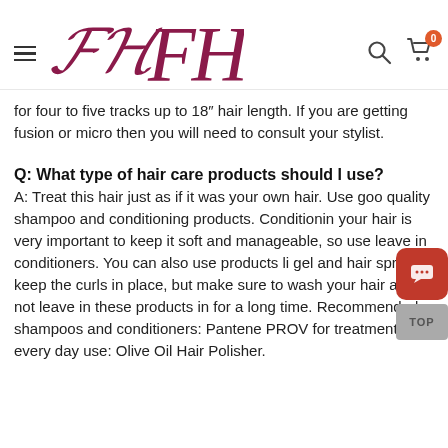FH logo with hamburger menu and cart icon
for four to five tracks up to 18″ hair length. If you are getting fusion or micro then you will need to consult your stylist.
Q: What type of hair care products should I use?
A: Treat this hair just as if it was your own hair. Use good quality shampoo and conditioning products. Conditioning your hair is very important to keep it soft and manageable, so use leave in conditioners. You can also use products like gel and hair spray to keep the curls in place, but make sure to wash your hair and not leave in these products in for a long time. Recommended shampoos and conditioners: Pantene PROV for treatment and every day use: Olive Oil Hair Polisher.